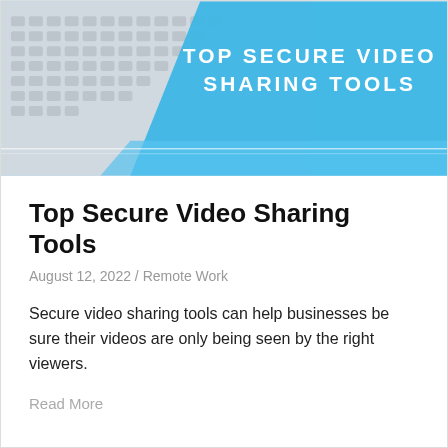[Figure (illustration): Hero banner image showing a laptop keyboard with a blue diagonal overlay and white bold text reading 'TOP SECURE VIDEO SHARING TOOLS']
Top Secure Video Sharing Tools
August 12, 2022 / Remote Work
Secure video sharing tools can help businesses be sure their videos are only being seen by the right viewers.
Read More